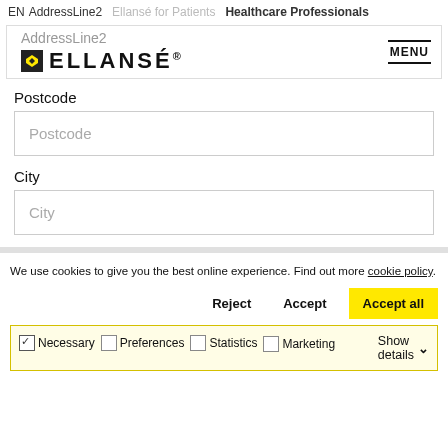EN AddressLine2   Ellansé for Patients   Healthcare Professionals
[Figure (screenshot): Ellansé logo bar with AddressLine2 text and MENU button]
Postcode
Postcode
City
City
We use cookies to give you the best online experience. Find out more cookie policy.
Reject   Accept   Accept all
Necessary   Preferences   Statistics   Marketing   Show details